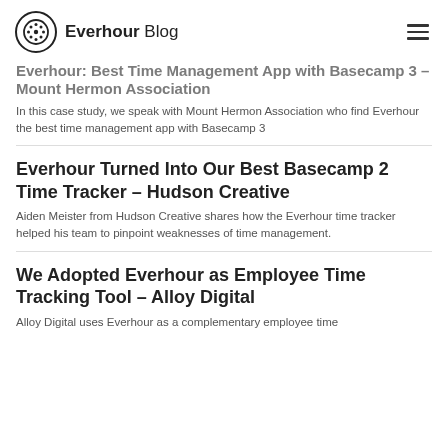Everhour Blog
Everhour: Best Time Management App with Basecamp 3 – Mount Hermon Association
In this case study, we speak with Mount Hermon Association who find Everhour the best time management app with Basecamp 3
Everhour Turned Into Our Best Basecamp 2 Time Tracker – Hudson Creative
Aiden Meister from Hudson Creative shares how the Everhour time tracker helped his team to pinpoint weaknesses of time management.
We Adopted Everhour as Employee Time Tracking Tool – Alloy Digital
Alloy Digital uses Everhour as a complementary employee time